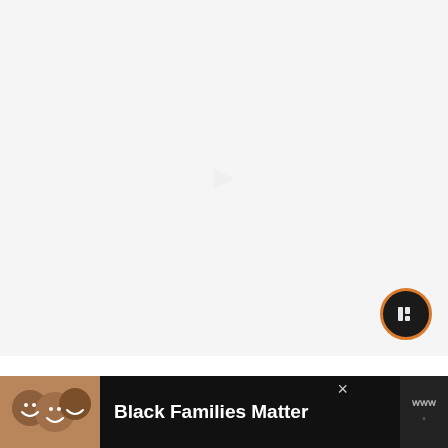[Figure (photo): Large mostly white/light gray image area, likely a video thumbnail or article image with a faint watermark or logo in the center. An orange-bordered circular play button with a dark background is positioned in the bottom-right corner of the image area.]
Depending on the frequency of outages in your area, a standby generator can run between 26 to
[Figure (photo): Advertisement banner with dark background. Left side shows a photo of smiling Black family members. Center has bold white text 'Black Families Matter'. Right side shows a media brand logo. A close (×) button appears at the top right of the ad.]